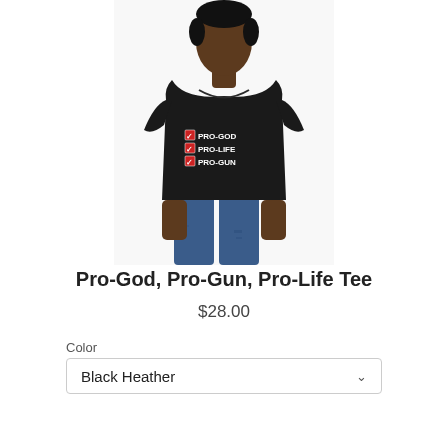[Figure (photo): Man wearing a black t-shirt with checkboxes showing PRO-GOD, PRO-LIFE, PRO-GUN in white text with red checkmarks, paired with blue jeans.]
Pro-God, Pro-Gun, Pro-Life Tee
$28.00
Color
Black Heather